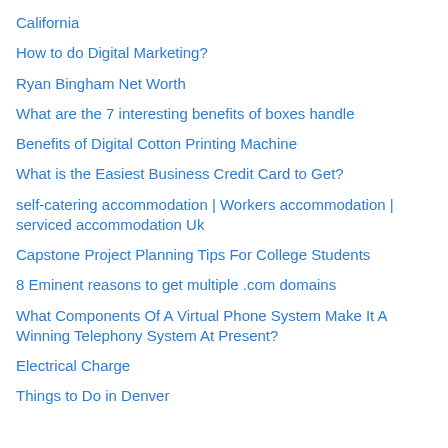California
How to do Digital Marketing?
Ryan Bingham Net Worth
What are the 7 interesting benefits of boxes handle
Benefits of Digital Cotton Printing Machine
What is the Easiest Business Credit Card to Get?
self-catering accommodation | Workers accommodation | serviced accommodation Uk
Capstone Project Planning Tips For College Students
8 Eminent reasons to get multiple .com domains
What Components Of A Virtual Phone System Make It A Winning Telephony System At Present?
Electrical Charge
Things to Do in Denver